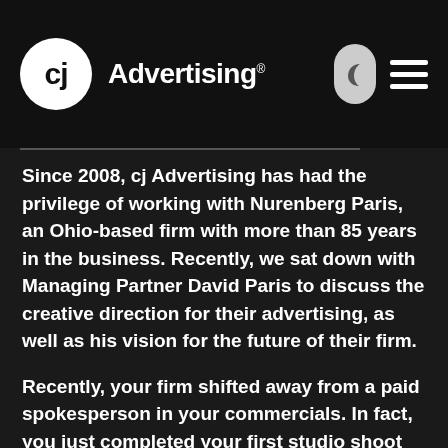cj Advertising
Since 2008, cj Advertising has had the privilege of working with Nurenberg Paris, an Ohio-based firm with more than 85 years in the business. Recently, we sat down with Managing Partner David Paris to discuss the creative direction for their advertising, as well as his vision for the future of their firm.
Recently, your firm shifted away from a paid spokesperson in your commercials. In fact, you just completed your first studio shoot as the on-screen talent. What led to that change? We aired our first commercials in 1984, but never really embraced the idea of having one of our own attorneys act as a spokesperson. We just felt there